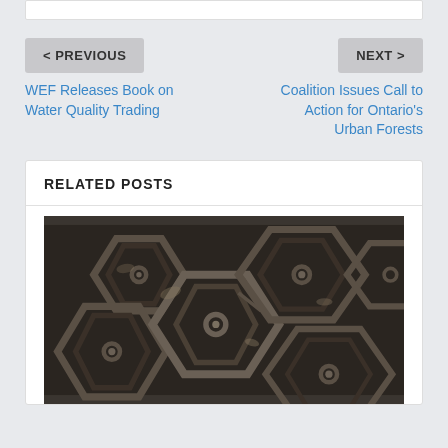< PREVIOUS
NEXT >
WEF Releases Book on Water Quality Trading
Coalition Issues Call to Action for Ontario's Urban Forests
RELATED POSTS
[Figure (photo): Close-up photo of a cast iron manhole cover with hexagonal geometric pattern, showing oxidized metal with debris in the grooves]